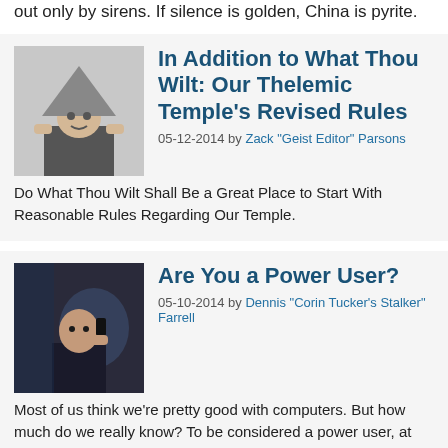out only by sirens. If silence is golden, China is pyrite.
In Addition to What Thou Wilt: Our Thelemic Temple's Revised Rules
05-12-2014 by Zack "Geist Editor" Parsons
Do What Thou Wilt Shall Be a Great Place to Start With Reasonable Rules Regarding Our Temple.
Are You a Power User?
05-10-2014 by Dennis "Corin Tucker's Stalker" Farrell
Most of us think we're pretty good with computers. But how much do we really know? To be considered a power user, at least half of these statements should apply to you.
Dante Alighieri Writes the Menu for